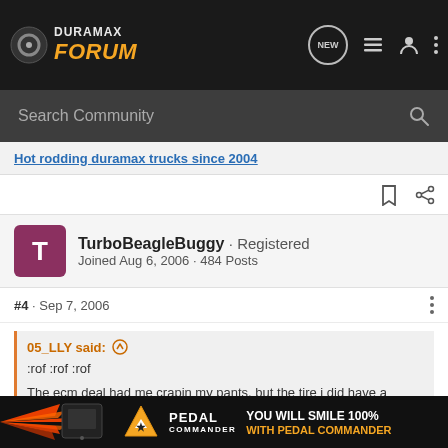DURAMAX FORUM
Search Community
Hot rodding duramax trucks since 2004
TurboBeagleBuggy · Registered
Joined Aug 6, 2006 · 484 Posts
#4 · Sep 7, 2006
05_LLY said:
:rof :rof :rof
The ecm deal had me crapin my pants, but the tire i did have a moment... eight is slow, H...
[Figure (screenshot): Pedal Commander advertisement banner at bottom of page]